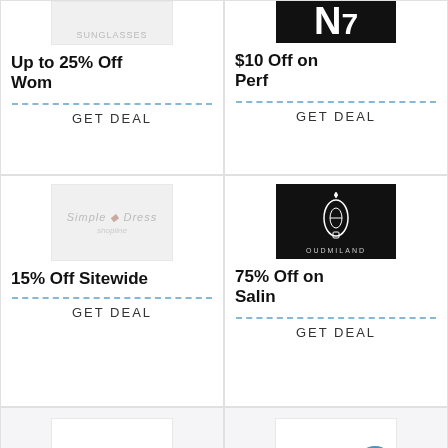[Figure (logo): Partial store logo top left, cropped]
Up to 25% Off
GET DEAL
[Figure (logo): N7 logo on black background, cropped at top]
$10 Off on
GET DEAL
[Figure (logo): Simple Dress logo]
15% Off Sitewide
GET DEAL
[Figure (logo): Oudmiland logo on black background]
75% Off on
GET DEAL
[Figure (logo): Vintage Havana script logo]
[Figure (logo): Civant logo with blue up arrow]